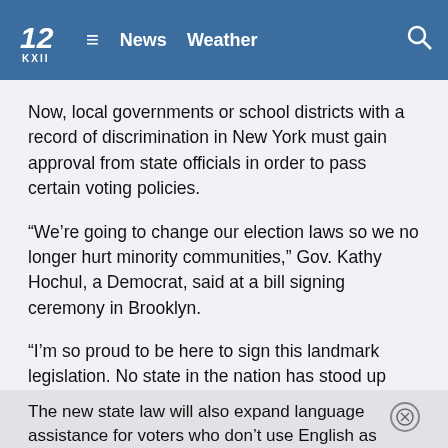12 KXII News Weather
Now, local governments or school districts with a record of discrimination in New York must gain approval from state officials in order to pass certain voting policies.
“We’re going to change our election laws so we no longer hurt minority communities,” Gov. Kathy Hochul, a Democrat, said at a bill signing ceremony in Brooklyn.
“I’m so proud to be here to sign this landmark legislation. No state in the nation has stood up with the courage and conviction and the power we have by protecting these important rights,” she said.
The new state law will also expand language assistance for voters who don’t use English as a first language, and